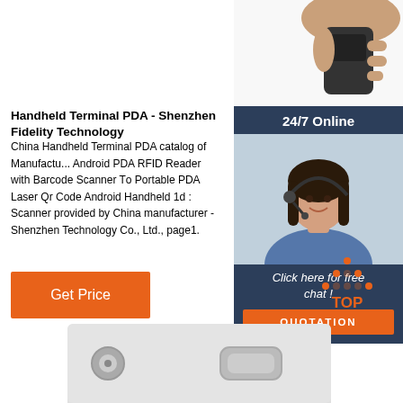[Figure (photo): Hand holding a handheld barcode scanner device, shown in upper right corner]
Handheld Terminal PDA - Shenzhen Fidelity Technology
China Handheld Terminal PDA catalog of Manufacturers, Android PDA RFID Reader with Barcode Scanner To Portable PDA Laser Qr Code Android Handheld 1d Scanner provided by China manufacturer - Shenzhen Technology Co., Ltd., page1.
[Figure (photo): 24/7 Online chat widget with smiling female customer service representative wearing a headset, with 'Click here for free chat!' and orange QUOTATION button]
[Figure (other): Orange dotted triangle TOP button icon for scrolling to top of page]
[Figure (photo): White rectangular device/badge at bottom of page with two circular connectors]